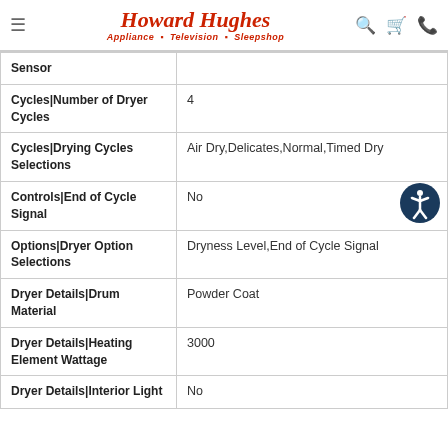Howard Hughes Appliance · Television · Sleepshop
| Feature | Value |
| --- | --- |
| Sensor |  |
| Cycles|Number of Dryer Cycles | 4 |
| Cycles|Drying Cycles Selections | Air Dry,Delicates,Normal,Timed Dry |
| Controls|End of Cycle Signal | No |
| Options|Dryer Option Selections | Dryness Level,End of Cycle Signal |
| Dryer Details|Drum Material | Powder Coat |
| Dryer Details|Heating Element Wattage | 3000 |
| Dryer Details|Interior Light | No |